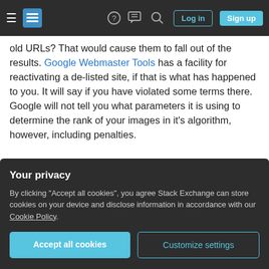Stack Exchange navigation bar with hamburger menu, logo, help, chat, search icons, Log in and Sign up buttons
old URLs? That would cause them to fall out of the results. Google Webmaster Tools has a facility for reactivating a de-listed site, if that is what has happened to you. It will say if you have violated some terms there. Google will not tell you what parameters it is using to determine the rank of your images in it's algorithm, however, including penalties.
Share   edited Nov 16, 2013 at 14:28   Improve this answer   Zistoloen
Your privacy
By clicking "Accept all cookies", you agree Stack Exchange can store cookies on your device and disclose information in accordance with our Cookie Policy.
Accept all cookies   Customize settings